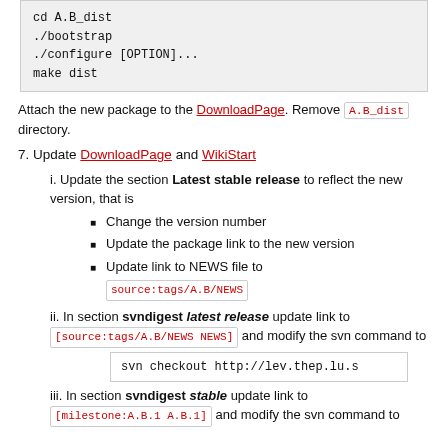cd A.B_dist
./bootstrap
./configure [OPTION]...
make dist
Attach the new package to the DownloadPage. Remove A.B_dist directory.
7. Update DownloadPage and WikiStart
i. Update the section Latest stable release to reflect the new version, that is
Change the version number
Update the package link to the new version
Update link to NEWS file to source:tags/A.B/NEWS
ii. In section svndigest latest release update link to [source:tags/A.B/NEWS NEWS] and modify the svn command to
svn checkout http://lev.thep.lu.s
iii. In section svndigest stable update link to [milestone:A.B.1 A.B.1] and modify the svn command to